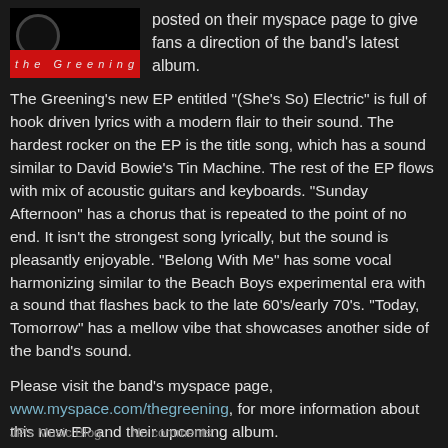[Figure (illustration): Album cover for The Greening - black background with red bar at bottom containing italic text 'the Greening' and a circular logo on the left]
posted on their myspace page to give fans a direction of the band's latest album.
The Greening's new EP entitled "(She's So) Electric" is full of hook driven lyrics with a modern flair to their sound. The hardest rocker on the EP is the title song, which has a sound similar to David Bowie's Tin Machine. The rest of the EP flows with mix of acoustic guitars and keyboards. "Sunday Afternoon" has a chorus that is repeated to the point of no end. It isn't the strongest song lyrically, but the sound is pleasantly enjoyable. "Belong With Me" has some vocal harmonizing similar to the Beach Boys experimental era with a sound that flashes back to the late 60's/early 70's. "Today, Tomorrow" has a mellow vibe that showcases another side of the band's sound.
Please visit the band's myspace page, www.myspace.com/thegreening, for more information about this new EP and their upcoming album.
JP's Music Blog    No comments: